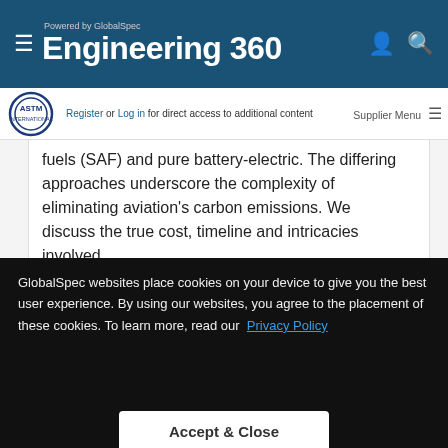Engineering 360 — Powered by GlobalSpec
Register or Log in for direct access to additional content
fuels (SAF) and pure battery-electric. The differing approaches underscore the complexity of eliminating aviation's carbon emissions. We discuss the true cost, timeline and intricacies involved.
Listen to the Whole Conversation
[Figure (photo): Airplane in flight against a cloudy blue sky, viewed from below at an angle.]
GlobalSpec websites place cookies on your device to give you the best user experience. By using our websites, you agree to the placement of these cookies. To learn more, read our Privacy Policy
Accept & Close